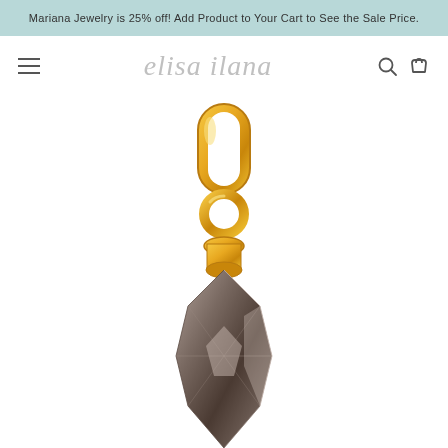Mariana Jewelry is 25% off! Add Product to Your Cart to See the Sale Price.
[Figure (logo): Elisa Ilana jewelry store logo in light grey italic script font]
[Figure (photo): Close-up product photo of a gold pendant charm with a faceted dark grey/brown crystal teardrop stone, showing the gold bail and jump ring connector at the top, against a white background]